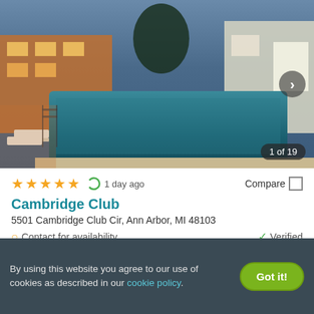[Figure (photo): Outdoor swimming pool at dusk with lounge chairs, residential buildings in background lit with warm lights, twilight sky]
1 of 19
★★★★★ (4.5 stars) · 1 day ago · Compare
Cambridge Club
5501 Cambridge Club Cir, Ann Arbor, MI 48103
Contact for availability · Verified
2 BEDS
By using this website you agree to our use of cookies as described in our cookie policy.